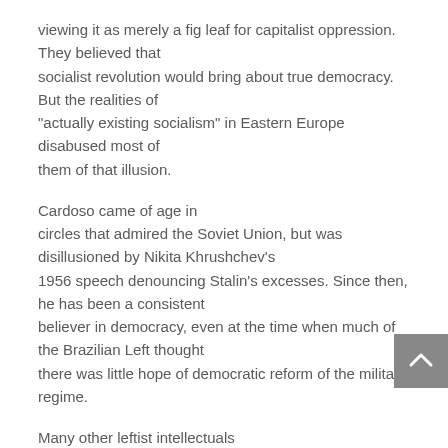viewing it as merely a fig leaf for capitalist oppression. They believed that socialist revolution would bring about true democracy. But the realities of "actually existing socialism" in Eastern Europe disabused most of them of that illusion.
Cardoso came of age in circles that admired the Soviet Union, but was disillusioned by Nikita Khrushchev's 1956 speech denouncing Stalin's excesses. Since then, he has been a consistent believer in democracy, even at the time when much of the Brazilian Left thought there was little hope of democratic reform of the military regime.
Many other leftist intellectuals reached similar conclusions in response to the same history. Perhaps the Marxian thinker who theorized the central importance of democracy most thoroughly